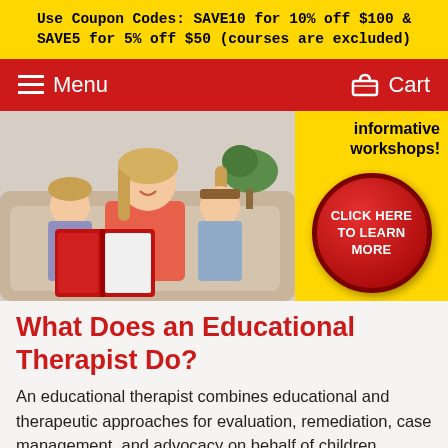Use Coupon Codes: SAVE10 for 10% off $100 & SAVE5 for 5% off $50 (courses are excluded)
Menu | Cart
[Figure (photo): A smiling woman sitting on a couch between two young children reading a red book together; next to it a yellow panel with text 'informative workshops!' and a red circular button reading 'CLICK HERE TO LEARN MORE']
What Does an Educational Therapist Do?
An educational therapist combines educational and therapeutic approaches for evaluation, remediation, case management, and advocacy on behalf of children, adolescents, and adults with learning disabilities or learning problems. Educational